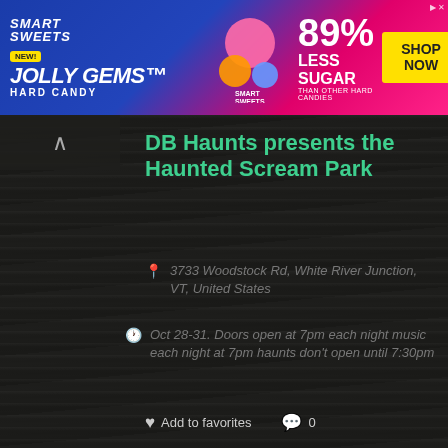[Figure (other): Smart Sweets advertisement banner: 'Jolly Gems Hard Candy – NEW! 89% Less Sugar than other hard candies – SHOP NOW']
DB Haunts presents the Haunted Scream Park
3733 Woodstock Rd, White River Junction, VT, United States
Oct 28-31. Doors open at 7pm each night music each night at 7pm haunts don't open until 7:30pm
Add to favorites  0